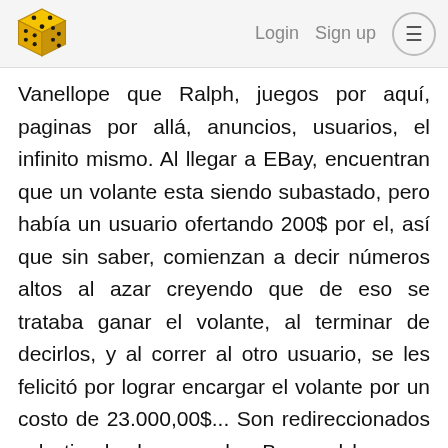Login  Sign up  ≡
Vanellope que Ralph, juegos por aquí, paginas por allá, anuncios, usuarios, el infinito mismo. Al llegar a EBay, encuentran que un volante esta siendo subastado, pero había un usuario ofertando 200$ por el, así que sin saber, comienzan a decir números altos al azar creyendo que de eso se trataba ganar el volante, al terminar de decirlos, y al correr al otro usuario, se les felicitó por lograr encargar el volante por un costo de 23.000,00$... Son redireccionados a la tienda de pago de eBay y al legar se encuentran con la inesperada cia de que deben cancelar esos miles de d res en dinero real, antes d 24hr para no perder el volante.